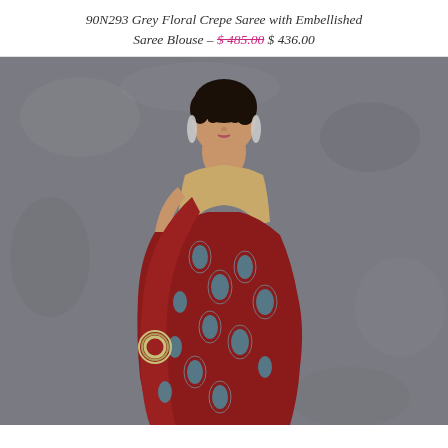90N293 Grey Floral Crepe Saree with Embellished Saree Blouse – $ 485.00 $ 436.00
[Figure (photo): A woman wearing a red/maroon floral crepe saree with paisley patterns in blue and teal, paired with a gold/cream sleeveless blouse. She has dark hair pulled back, wears silver chandelier earrings and bangles, and poses against a grey textured concrete background.]